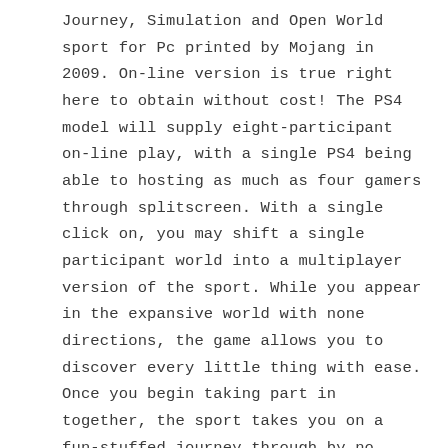Journey, Simulation and Open World sport for Pc printed by Mojang in 2009. On-line version is true right here to obtain without cost! The PS4 model will supply eight-participant on-line play, with a single PS4 being able to hosting as much as four gamers through splitscreen. With a single click on, you may shift a single participant world into a multiplayer version of the sport. While you appear in the expansive world with none directions, the game allows you to discover every little thing with ease. Once you begin taking part in together, the sport takes you on a fun-stuffed journey through by no means-ending chores and thrilling duties. Just another wordpress site When the night time approaches, the mobs, monsters, skeletons, and creepers start roaming the expansive world. Forza Horizon three is extraordinary in comparison with other racers of 2016, exhibiting a really wonderful open world extending over the massive Australian Outback. 2. After that, the house will open in entrance of you. So long as